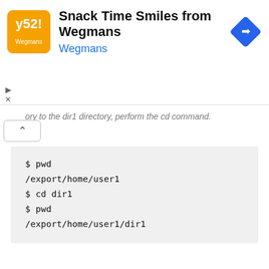[Figure (other): Advertisement banner: Wegmans Snack Time Smiles ad with orange logo, title text, and navigation icon]
ory to the dir1 directory, perform the cd command.
$ pwd
/export/home/user1
$ cd dir1
$ pwd
/export/home/user1/dir1
Using Path Name Abbreviations
You can use path name abbreviations to easily navigate or refer to directories on the command line. Table 3-2